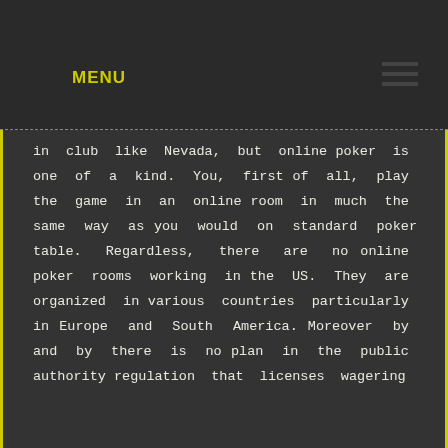MENU
in club like Nevada, but online poker is one of a kind. You, first of all, play the game in an online room in much the same way as you would on standard poker table. Regardless, there are no online poker rooms working in the US. They are organized in various countries particularly in Europe and South America. Moreover by and by there is no plan in the public authority regulation that licenses wagering